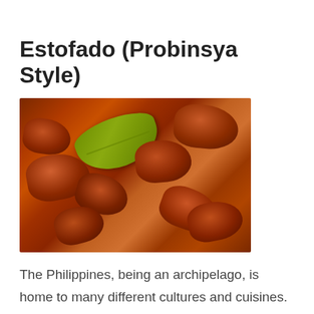Estofado (Probinsya Style)
[Figure (photo): Close-up photo of Estofado dish — glazed braised meat pieces in a dark brown sauce with a bay leaf on top]
The Philippines, being an archipelago, is home to many different cultures and cuisines. This is why the Bulalo you eat in Metro Manila might not taste the same